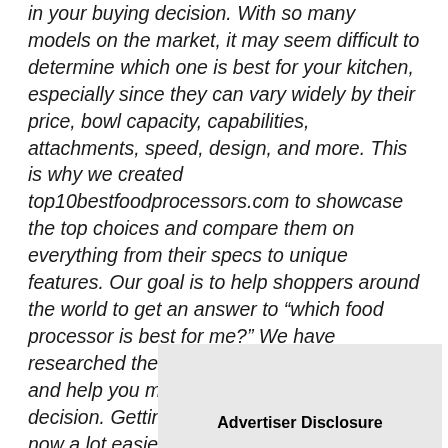in your buying decision. With so many models on the market, it may seem difficult to determine which one is best for your kitchen, especially since they can vary widely by their price, bowl capacity, capabilities, attachments, speed, design, and more. This is why we created top10bestfoodprocessors.com to showcase the top choices and compare them on everything from their specs to unique features. Our goal is to help shoppers around the world to get an answer to “which food processor is best for me?” We have researched the appliances to save you time and help you make a more informed decision. Getting your ideal food processor is now a lot easier!
Advertiser Disclosure